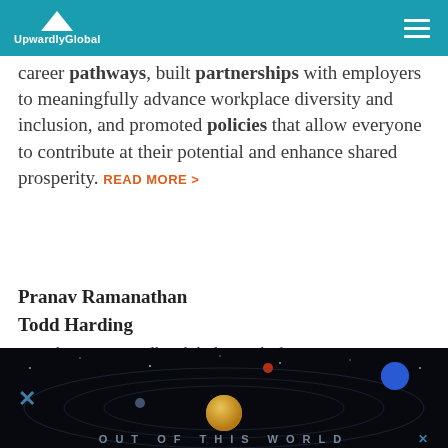Upwardly Global
career pathways, built partnerships with employers to meaningfully advance workplace diversity and inclusion, and promoted policies that allow everyone to contribute at their potential and enhance shared prosperity. READ MORE >
Pranav Ramanathan
Todd Harding
Co-Chairs, Upwardly Global Board of Directors
[Figure (illustration): Dark space-themed image with planets and the text 'OUT OF THIS WORLD' at the bottom]